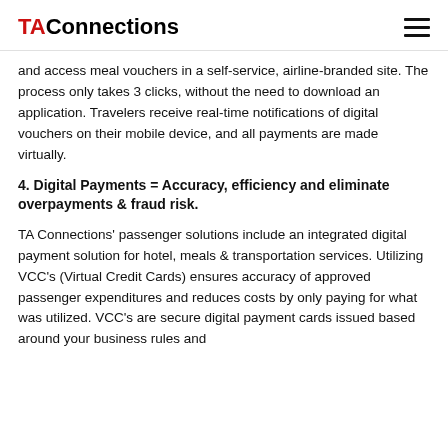TAConnections
and access meal vouchers in a self-service, airline-branded site. The process only takes 3 clicks, without the need to download an application. Travelers receive real-time notifications of digital vouchers on their mobile device, and all payments are made virtually.
4. Digital Payments = Accuracy, efficiency and eliminate overpayments & fraud risk.
TA Connections' passenger solutions include an integrated digital payment solution for hotel, meals & transportation services. Utilizing VCC's (Virtual Credit Cards) ensures accuracy of approved passenger expenditures and reduces costs by only paying for what was utilized. VCC's are secure digital payment cards issued based around your business rules and